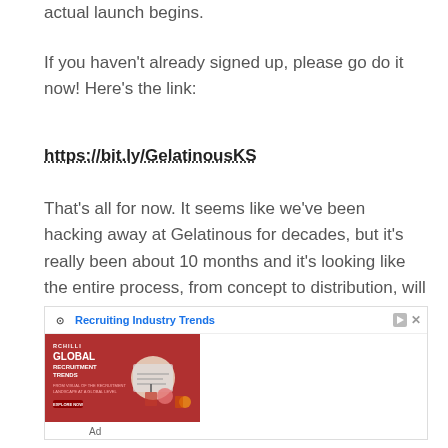actual launch begins.
If you haven't already signed up, please go do it now! Here's the link:
https://bit.ly/GelatinousKS
That's all for now. It seems like we've been hacking away at Gelatinous for decades, but it's really been about 10 months and it's looking like the entire process, from concept to distribution, will take about one
[Figure (other): Advertisement banner for RChilli Global Recruitment Trends with a red left panel showing branding and an illustration of a person, and right panel with blue headline text 'Recruiting Industry Trends' and ad controls.]